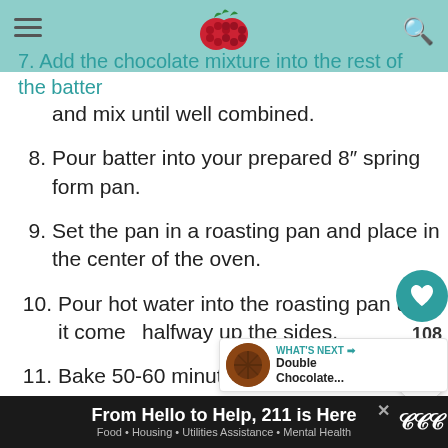7. Add the chocolate mixture into the rest of the batter and mix until well combined.
8. Pour batter into your prepared 8" spring form pan.
9. Set the pan in a roasting pan and place in the center of the oven.
10. Pour hot water into the roasting pan until it comes halfway up the sides.
11. Bake 50-60 minutes. bake until  center jiggles a little when you move the pan.
12. Remove pan from oven, remove the foil and place the pan only on a wire rack to cool to room
From Hello to Help, 211 is Here · Food · Housing · Utilities Assistance · Mental Health